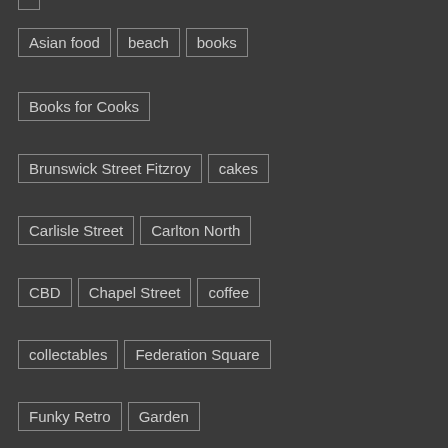Asian food
beach
books
Books for Cooks
Brunswick Street Fitzroy
cakes
Carlisle Street
Carlton North
CBD
Chapel Street
coffee
collectables
Federation Square
Funky Retro
Garden
Gasworks Park
Gertrude Street Fitzroy
Ian Potter Centre Federation Square
ice cream
La Porchetta
market
Melbourne Botanical Gardens
Melbourne CBD
Myer's Christmas windows
NGV